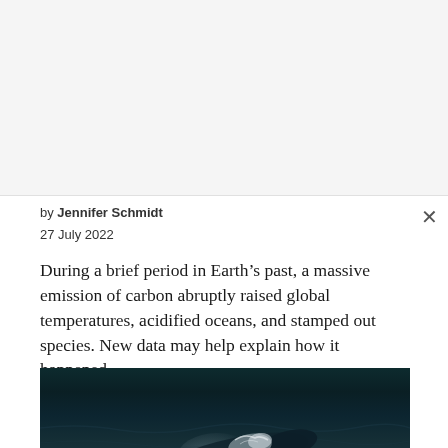by Jennifer Schmidt
27 July 2022
During a brief period in Earth’s past, a massive emission of carbon abruptly raised global temperatures, acidified oceans, and stamped out species. New data may help explain how it happened.
[Figure (photo): Dark ocean water with a whale or large marine animal visible, dramatic low-light underwater or surface photography]